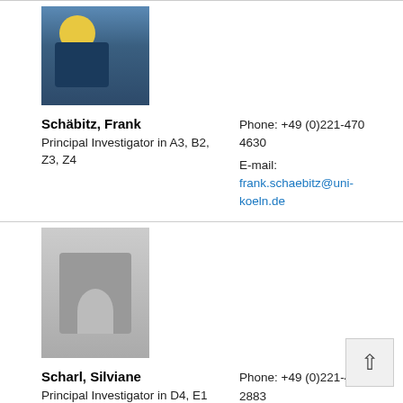[Figure (photo): Photo of Schäbitz, Frank — partial view at top of page]
Schäbitz, Frank
Principal Investigator in A3, B2, Z3, Z4
Phone: +49 (0)221-470 4630
E-mail: frank.schaebitz@uni-koeln.de
[Figure (photo): Black and white photo of Scharl, Silviane]
Scharl, Silviane
Principal Investigator in D4, E1
Phone: +49 (0)221-470 2883
E-mail: sscharl@uni-koeln.de
[Figure (photo): Photo of Scheidt, Stephanie — outdoor scene]
Scheidt, Stephanie
Researcher in F6
Phone: +49 0)221-470 6353
E-mail: stephanie.scheidt@uni-koeln.de
[Figure (photo): Partial photo at bottom of page — next person]